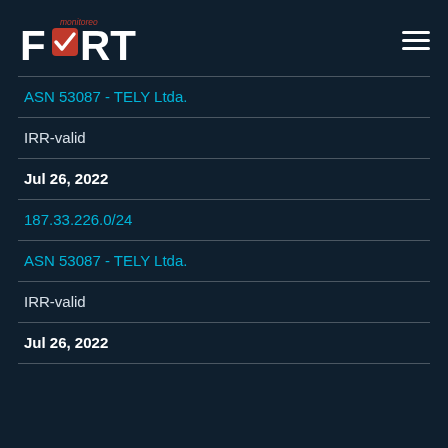FORT monitoreo
ASN 53087 - TELY Ltda.
IRR-valid
Jul 26, 2022
187.33.226.0/24
ASN 53087 - TELY Ltda.
IRR-valid
Jul 26, 2022